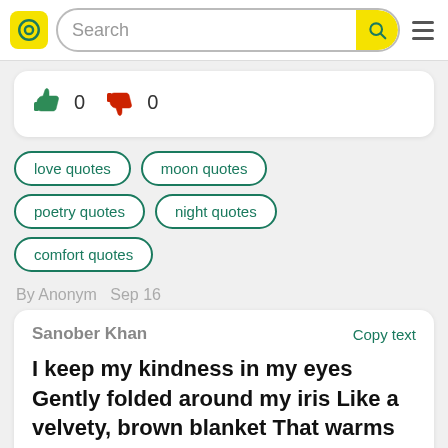Search
[Figure (screenshot): Vote row with thumbs up (0) and thumbs down (0) icons]
love quotes
moon quotes
poetry quotes
night quotes
comfort quotes
By Anonym  Sep 16
Sanober Khan  Copy text
I keep my kindness in my eyes Gently folded around my iris Like a velvety, brown blanket That warms my vision